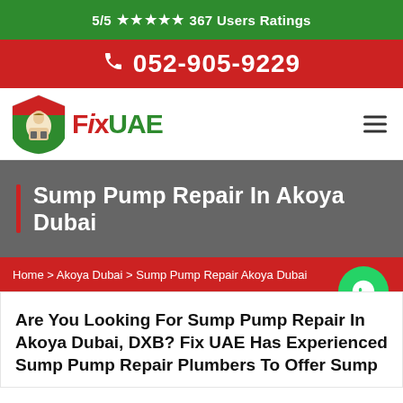5/5 ★★★★★ 367 Users Ratings
📞 052-905-9229
[Figure (logo): Fix UAE logo with shield icon showing a plumber, red FIX text and green UAE text]
Sump Pump Repair In Akoya Dubai
Home > Akoya Dubai > Sump Pump Repair Akoya Dubai
Are You Looking For Sump Pump Repair In Akoya Dubai, DXB? Fix UAE Has Experienced Sump Pump Repair Plumbers To Offer Sump